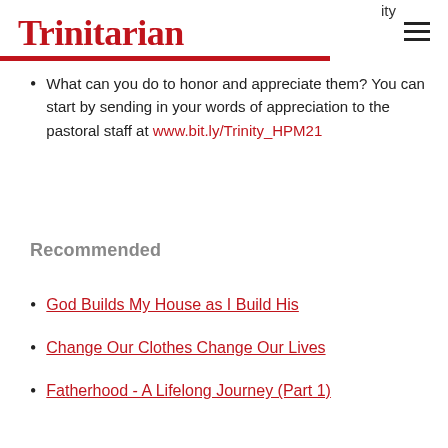Trinitarian
What can you do to honor and appreciate them? You can start by sending in your words of appreciation to the pastoral staff at www.bit.ly/Trinity_HPM21
Recommended
God Builds My House as I Build His
Change Our Clothes Change Our Lives
Fatherhood - A Lifelong Journey (Part 1)